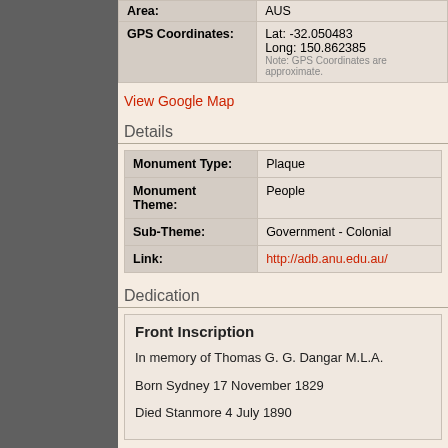| Field | Value |
| --- | --- |
| Area: | AUS |
| GPS Coordinates: | Lat: -32.050483
Long: 150.862385
Note: GPS Coordinates are approximate. |
View Google Map
Details
| Field | Value |
| --- | --- |
| Monument Type: | Plaque |
| Monument Theme: | People |
| Sub-Theme: | Government - Colonial |
| Link: | http://adb.anu.edu.au/ |
Dedication
Front Inscription

In memory of Thomas G. G. Dangar M.L.A.

Born Sydney 17 November 1829

Died Stanmore 4 July 1890